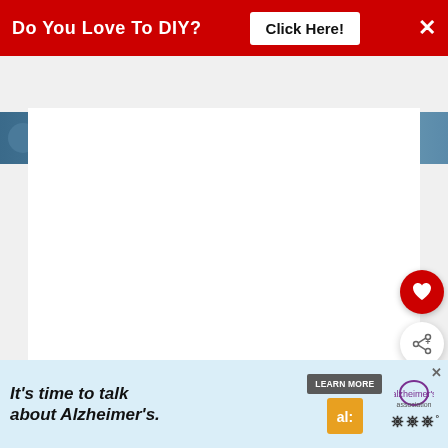[Figure (screenshot): Red banner advertisement asking 'Do You Love To DIY?' with a white 'Click Here!' button and an X close button]
[Figure (photo): Partially visible image strip with bluish-teal background and stylized italic title text]
[Figure (screenshot): White main content area with floating heart (favorite) and share action buttons on the right side]
[Figure (screenshot): What's Next panel showing a thumbnail and text 'Staging A High End Home F...' with red label]
[Figure (screenshot): Bottom advertisement banner for Alzheimer's Association reading 'It's time to talk about Alzheimer's.' with a Learn More button and association logo]